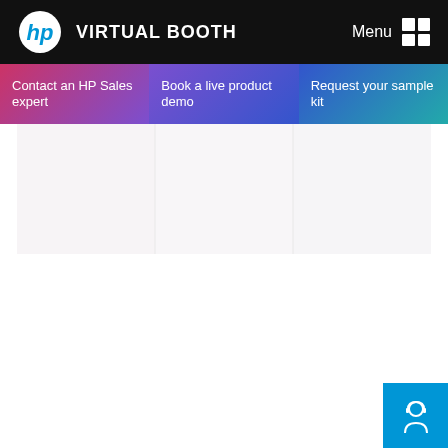VIRTUAL BOOTH
Contact an HP Sales expert
Book a live product demo
Request your sample kit
[Figure (photo): HP Virtual Booth trade show floor with printing equipment and displays, faded white overlay]
[Figure (illustration): Customer support icon (headset person silhouette) in white on blue background, bottom right corner]